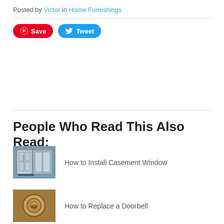Posted by Victor in Home Furnishings
[Figure (other): Pinterest Save button and Twitter Tweet button]
People Who Read This Also Read:
[Figure (photo): Casement window thumbnail]
How to Install Casement Window
[Figure (photo): Doorbell thumbnail]
How to Replace a Doorbell
[Figure (photo): Wall corner repair thumbnail]
How to Repair an Outside Wall Corner
[Figure (photo): Partially visible fourth article thumbnail]
How to Clean and...